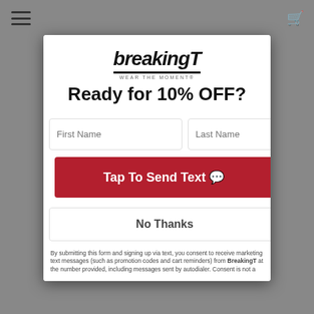[Figure (screenshot): BreakingT website screenshot showing a popup modal overlay. Background shows a person wearing a graphic t-shirt. The modal contains the BreakingT logo, a 10% off offer, name input fields, a red 'Tap To Send Text' button, a 'No Thanks' option, and fine print text about text message consent.]
Ready for 10% OFF?
Tap To Send Text 💬
No Thanks
By submitting this form and signing up via text, you consent to receive marketing text messages (such as promotion codes and cart reminders) from BreakingT at the number provided, including messages sent by autodialer. Consent is not a